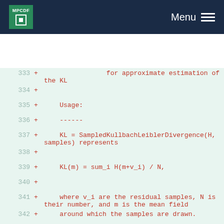MPCDF Menu
333 +                 for approximate estimation of the KL
334 +
335 +     Usage:
336 +     ------
337 +     KL = SampledKullbachLeiblerDivergence(H, samples) represents
338 +
339 +     KL(m) = sum_i H(m+v_i) / N,
340 +
341 +     where v_i are the residual samples, N is their number, and m is the mean field
342 +     around which the samples are drawn.
343 +
344 +     Tip:
345 +     ----
346 +     Having symmetrized residual